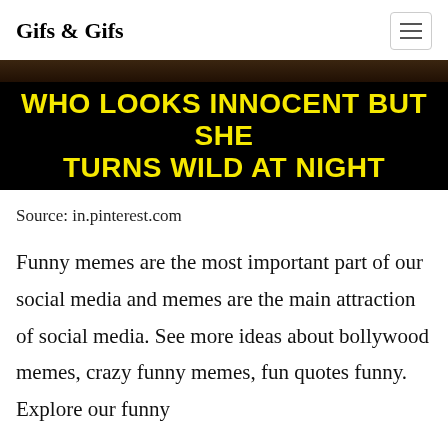Gifs & Gifs
[Figure (photo): Meme image with black background and bold yellow text reading: WHO LOOKS INNOCENT BUT SHE TURNS WILD AT NIGHT]
Source: in.pinterest.com
Funny memes are the most important part of our social media and memes are the main attraction of social media. See more ideas about bollywood memes, crazy funny memes, fun quotes funny. Explore our funny